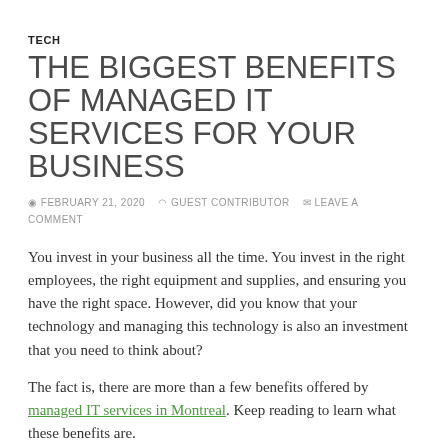TECH
THE BIGGEST BENEFITS OF MANAGED IT SERVICES FOR YOUR BUSINESS
FEBRUARY 21, 2020   GUEST CONTRIBUTOR   LEAVE A COMMENT
You invest in your business all the time. You invest in the right employees, the right equipment and supplies, and ensuring you have the right space. However, did you know that your technology and managing this technology is also an investment that you need to think about?
The fact is, there are more than a few benefits offered by managed IT services in Montreal. Keep reading to learn what these benefits are.